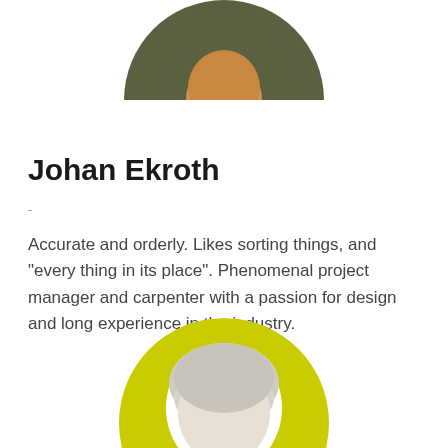[Figure (photo): Circular profile photo of Johan Ekroth at top of page, partially cropped, showing person wearing orange top with dark jacket, against dark background]
Johan Ekroth
-
Accurate and orderly. Likes sorting things, and "every thing in its place". Phenomenal project manager and carpenter with a passion for design and long experience in the industry.
[Figure (photo): Circular profile photo at bottom of page with bright yellow-green (chartreuse) background circle, showing an older person with gray/white hair, partially cropped at bottom of page]